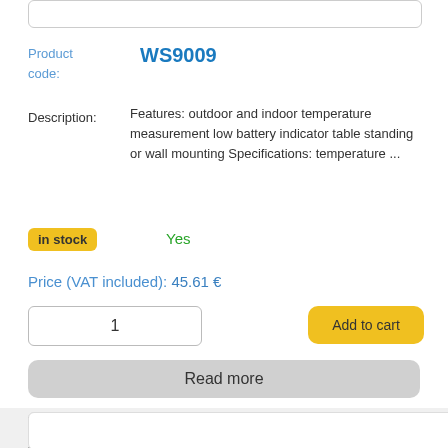Product code: WS9009
Description: Features: outdoor and indoor temperature measurement low battery indicator table standing or wall mounting Specifications: temperature ...
in stock  Yes
Price (VAT included): 45.61 €
1
Add to cart
Read more
WEATHER STATION WITH EXTERNAL TEMPERATURE SENSOR
[Figure (photo): Photo of weather station device with external temperature sensor]